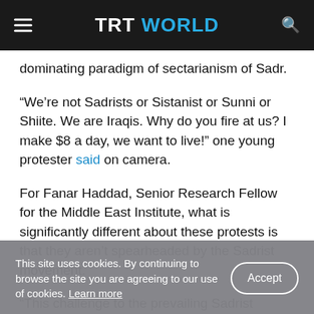TRT WORLD
dominating paradigm of sectarianism of Sadr.
“We’re not Sadrists or Sistanist or Sunni or Shiite. We are Iraqis. Why do you fire at us? I make $8 a day, we want to live!” one young protester said on camera.
For Fanar Haddad, Senior Research Fellow for the Middle East Institute, what is significantly different about these protests is that they aren’t spearheaded by the Sadrist movement.
“This challenge to the prevailing Sadrist…
This site uses cookies. By continuing to browse the site you are agreeing to our use of cookies. Learn more